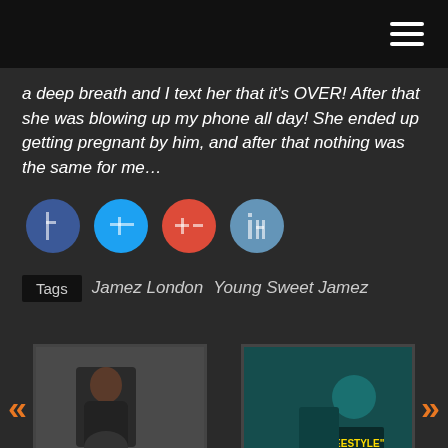Navigation bar with hamburger menu
a deep breath and I text her that it's OVER! After that she was blowing up my phone all day! She ended up getting pregnant by him, and after that nothing was the same for me…
[Figure (other): Four social media sharing buttons: Facebook (blue), Twitter (light blue), Google+ (red), LinkedIn (steel blue)]
Tags  Jamez London  Young Sweet Jamez
[Figure (photo): Thumbnail photo of a person sitting, dark background - for Lundon Vogue - Ragerr post]
Lundon Vogue – Ragerr @lundonvogue
[Figure (photo): Thumbnail photo with teal/green tones showing a person with text 'FREESTYLE' - for LBS Woobie - Freestyle post]
LBS Woobie – Freestyle @LbsWoobie